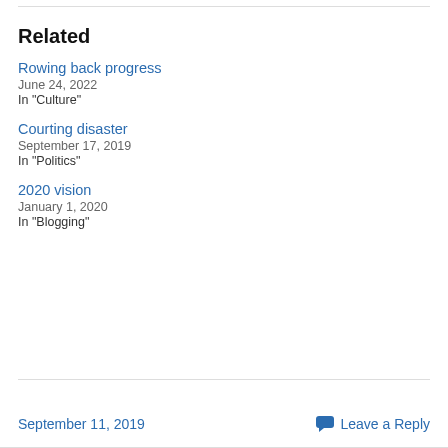Related
Rowing back progress
June 24, 2022
In "Culture"
Courting disaster
September 17, 2019
In "Politics"
2020 vision
January 1, 2020
In "Blogging"
September 11, 2019    Leave a Reply